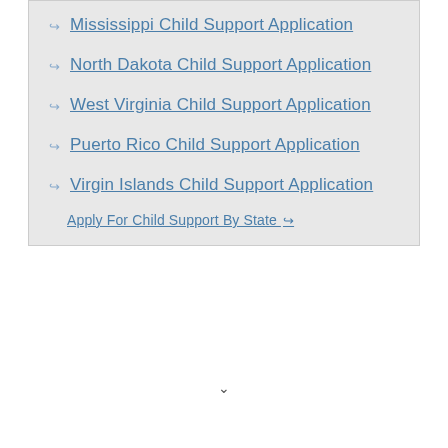Mississippi Child Support Application
North Dakota Child Support Application
West Virginia Child Support Application
Puerto Rico Child Support Application
Virgin Islands Child Support Application
Apply For Child Support By State ↪